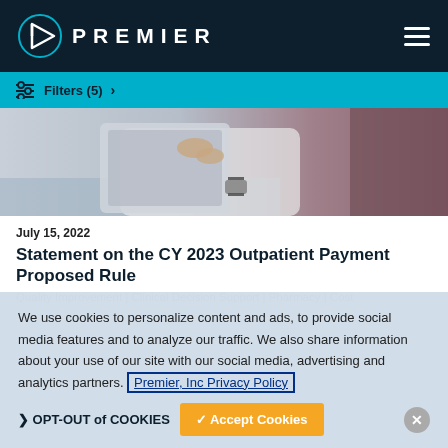PREMIER
[Figure (screenshot): Navigation filter bar with Filters (5) label and chevron on cyan background]
[Figure (photo): Healthcare professional using tablet device, wearing white coat and watch]
July 15, 2022
Statement on the CY 2023 Outpatient Payment Proposed Rule
Quality Improvement | Clinical Decision Support | Pharmacy | Cost
We use cookies to personalize content and ads, to provide social media features and to analyze our traffic. We also share information about your use of our site with our social media, advertising and analytics partners. Premier, Inc Privacy Policy
❯ OPT-OUT of COOKIES    ✓ Accept Cookies    ✕